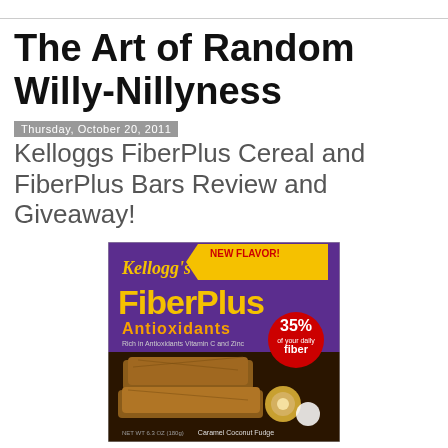The Art of Random Willy-Nillyness
Thursday, October 20, 2011
Kelloggs FiberPlus Cereal and FiberPlus Bars Review and Giveaway!
[Figure (photo): Kellogg's FiberPlus Antioxidants bar box, Caramel Coconut Fudge flavor, showing NEW FLAVOR! banner, 35% fiber badge, and bars visible through packaging.]